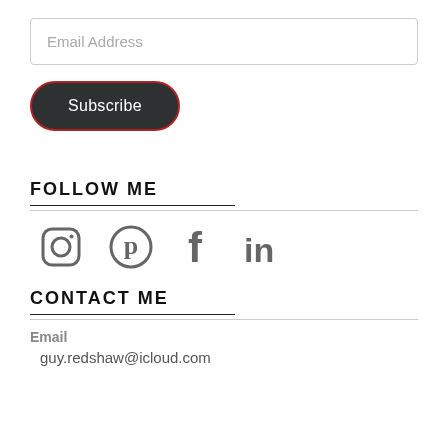[Figure (screenshot): Email Address input field — a rounded rectangle input box with placeholder text 'Email Address']
[Figure (screenshot): Subscribe button — dark rounded pill-shaped button with red border outline and white text 'Subscribe']
FOLLOW ME
[Figure (infographic): Social media icons row: Instagram, Pinterest, Facebook, LinkedIn icons in gray]
CONTACT ME
Email
guy.redshaw@icloud.com